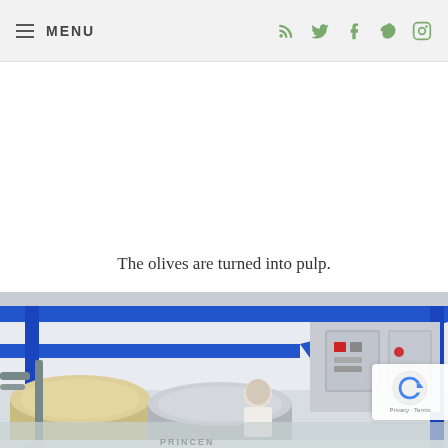MENU
The olives are turned into pulp.
[Figure (photo): Industrial olive processing facility interior showing blue steel frame structure, machinery with cylindrical drums, control panels on wall, and a worker in white clothing standing near the equipment.]